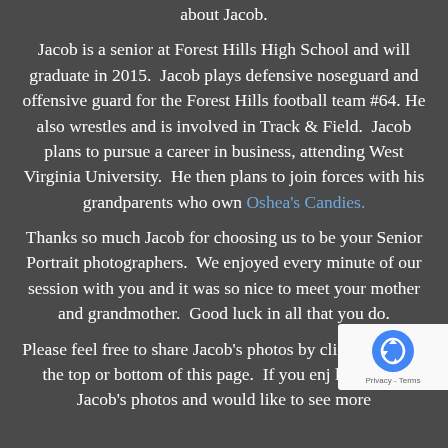about Jacob.
Jacob is a senior at Forest Hills High School and will graduate in 2015.  Jacob plays defensive noseguard and offensive guard for the Forest Hills football team #64.  He also wrestles and is involved in Track & Field.  Jacob plans to pursue a career in business, attending West Virginia University.  He then plans to join forces with his grandparents who own Oshea's Candies.
Thanks so much Jacob for choosing us to be your Senior Portrait photographers.  We enjoyed every minute of our session with you and it was so nice to meet your mother and grandmother.  Good luck in all that you do.
Please feel free to share Jacob's photos by clicking tabs at the top or bottom of this page.  If you enj looking at Jacob's photos and would like to see more
[Figure (other): reCAPTCHA badge with recycling arrows logo and 'Privacy - Terms' text]